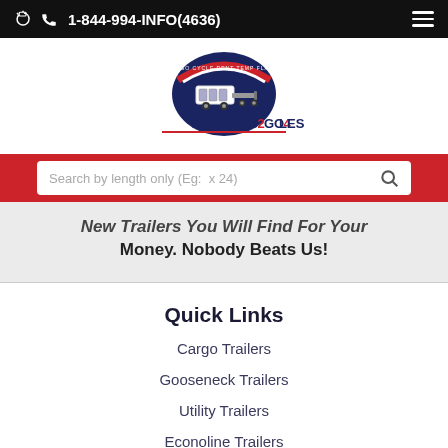1-844-994-INFO(4636)
[Figure (logo): Trailers2Go4Less logo with circular badge showing trailers, text TRAILERS2GO4LESS below]
Search by length only (Eg: x 24)
New Trailers You Will Find For Your Money. Nobody Beats Us!
Quick Links
Cargo Trailers
Gooseneck Trailers
Utility Trailers
Econoline Trailers
About Us